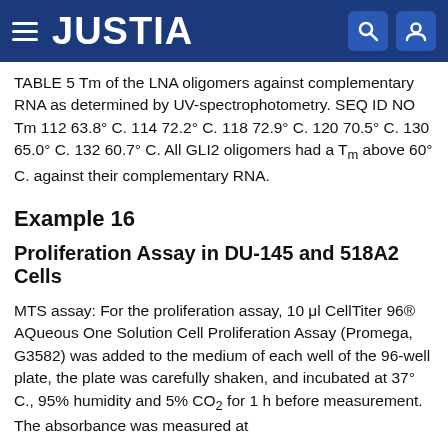JUSTIA
TABLE 5 Tm of the LNA oligomers against complementary RNA as determined by UV-spectrophotometry. SEQ ID NO Tm 112 63.8° C. 114 72.2° C. 118 72.9° C. 120 70.5° C. 130 65.0° C. 132 60.7° C. All GLI2 oligomers had a Tm above 60° C. against their complementary RNA.
Example 16
Proliferation Assay in DU-145 and 518A2 Cells
MTS assay: For the proliferation assay, 10 μl CellTiter 96® AQueous One Solution Cell Proliferation Assay (Promega, G3582) was added to the medium of each well of the 96-well plate, the plate was carefully shaken, and incubated at 37° C., 95% humidity and 5% CO2 for 1 h before measurement. The absorbance was measured at